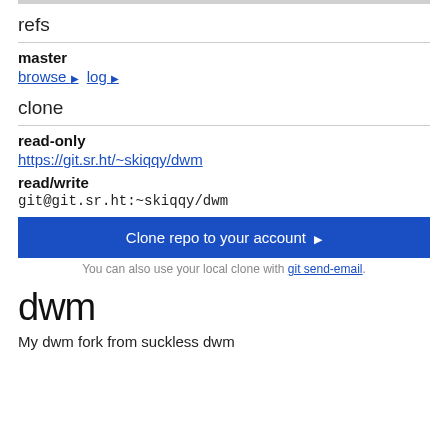refs
master
browse ▶ log ▶
clone
read-only
https://git.sr.ht/~skiqqy/dwm
read/write
git@git.sr.ht:~skiqqy/dwm
Clone repo to your account ▶
You can also use your local clone with git send-email.
dwm
My dwm fork from suckless dwm